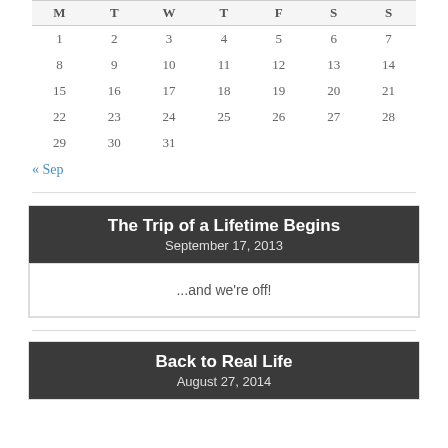| M | T | W | T | F | S | S |
| --- | --- | --- | --- | --- | --- | --- |
| 1 | 2 | 3 | 4 | 5 | 6 | 7 |
| 8 | 9 | 10 | 11 | 12 | 13 | 14 |
| 15 | 16 | 17 | 18 | 19 | 20 | 21 |
| 22 | 23 | 24 | 25 | 26 | 27 | 28 |
| 29 | 30 | 31 |  |  |  |  |
« Sep
The Trip of a Lifetime Begins
September 17, 2013
...and we're off!
Back to Real Life
August 27, 2014